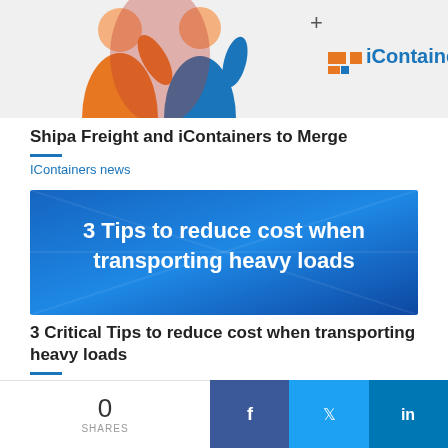[Figure (illustration): Top banner image showing illustrated figures of a person in orange and a person in blue with the iContainers logo and a plus sign]
Shipa Freight and iContainers to Merge
IContainers news
[Figure (infographic): Blue banner image with white bold text reading: 3 Tips to reduce cost when transporting heavy loads]
3 Critical Tips to reduce cost when transporting heavy loads
Logistics & shipping
0 SHARES